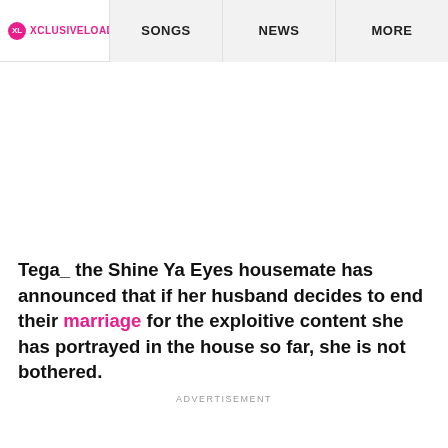XL XCLUSIVELOADED | SONGS | NEWS | MORE
Tega_ the Shine Ya Eyes housemate has announced that if her husband decides to end their marriage for the exploitive content she has portrayed in the house so far, she is not bothered.
ADVERTISEMENT